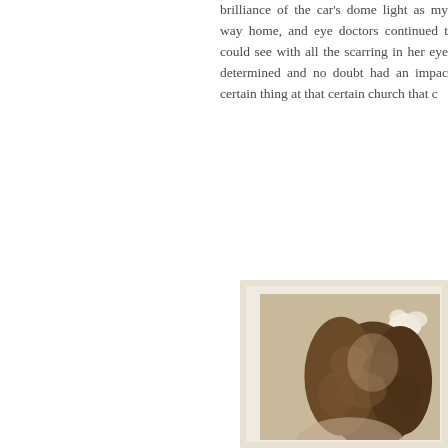brilliance of the car's dome light as my way home, and eye doctors continued t could see with all the scarring in her eye determined and no doubt had an impac certain thing at that certain church that c
[Figure (photo): A vintage sepia-toned photograph in a white frame, showing a person with curly dark hair and a white flower or bow accessory in their hair, against a beige/tan background.]